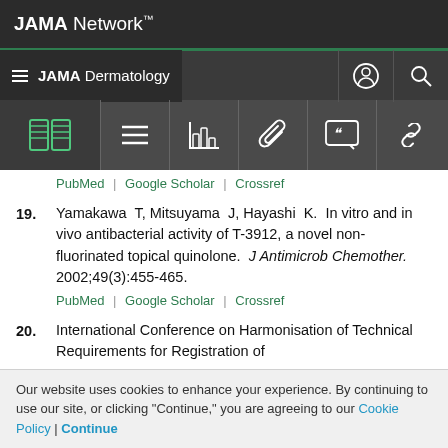JAMA Network
JAMA Dermatology
[Figure (screenshot): Toolbar with icons: book, hamburger menu, bar chart, paperclip, quote, link]
PubMed | Google Scholar | Crossref
19. Yamakawa T, Mitsuyama J, Hayashi K. In vitro and in vivo antibacterial activity of T-3912, a novel non-fluorinated topical quinolone. J Antimicrob Chemother. 2002;49(3):455-465.
PubMed | Google Scholar | Crossref
20. International Conference on Harmonisation of Technical Requirements for Registration of
Our website uses cookies to enhance your experience. By continuing to use our site, or clicking "Continue," you are agreeing to our Cookie Policy | Continue